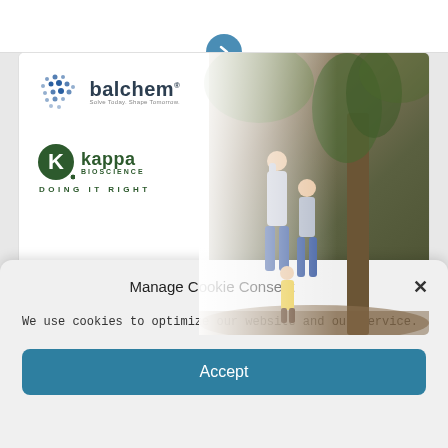[Figure (screenshot): Navigation arrow button (chevron right) on blue circle at top center of page]
[Figure (photo): Advertisement card showing Balchem and Kappa Bioscience logos on the left, with a photo of people climbing/playing on a tree in a forest on the right]
Manage Cookie Consent
We use cookies to optimize our website and our service.
Accept